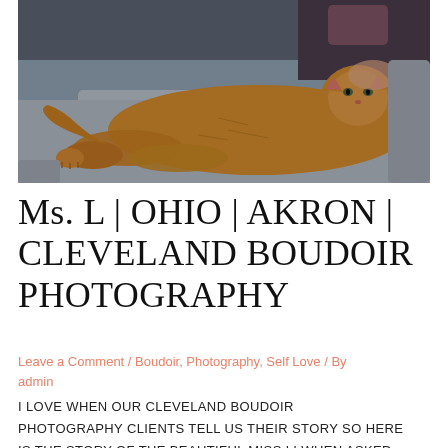[Figure (photo): An orange tabby cat lying stretched out on a light grey couch/sofa cushion, with a person partially visible in the background. The photo is in a moody, desaturated style.]
Ms. L | OHIO | AKRON | CLEVELAND BOUDOIR PHOTOGRAPHY
Leave a Comment / Boudoir, Photography, Self Love / By admin
I LOVE WHEN OUR CLEVELAND BOUDOIR PHOTOGRAPHY CLIENTS TELL US THEIR STORY SO HERE IS THE STORY OF THE BEAUTIFUL MISS L! WHEN ASKED